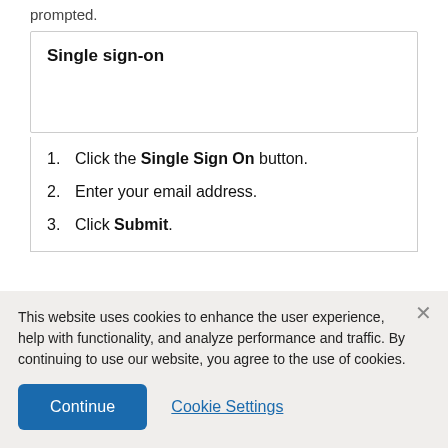prompted.
Single sign-on
Click the Single Sign On button.
Enter your email address.
Click Submit.
This website uses cookies to enhance the user experience, help with functionality, and analyze performance and traffic. By continuing to use our website, you agree to the use of cookies.
Continue
Cookie Settings